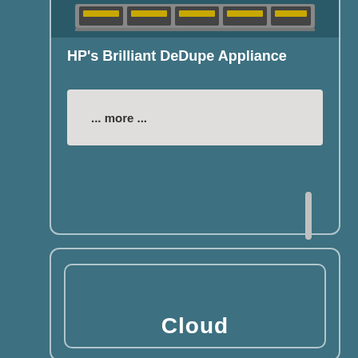[Figure (screenshot): Hardware appliance image showing server/storage modules in a rack]
HP's Brilliant DeDupe Appliance
... more ...
[Figure (screenshot): Second card section showing 'Cloud' heading inside a nested rounded-rectangle card on teal background]